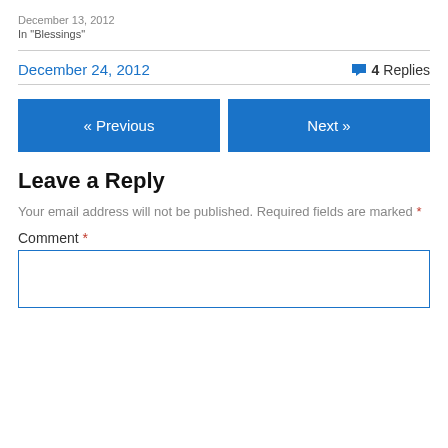December 13, 2012
In "Blessings"
December 24, 2012
4 Replies
« Previous
Next »
Leave a Reply
Your email address will not be published. Required fields are marked *
Comment *